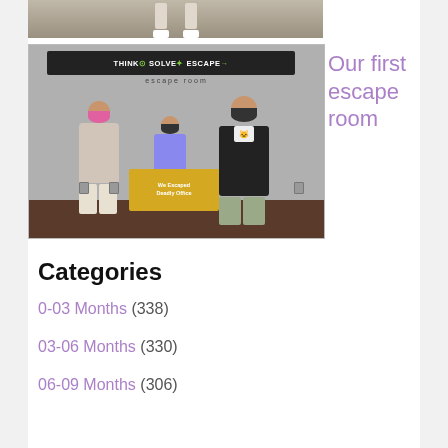[Figure (photo): Top portion of a photo showing legs and white shoes of a person against a dark background]
[Figure (photo): Family of three people wearing face masks standing in an escape room, holding a sign that reads 'We Escaped Deadly Office'. A banner above reads 'THINK SOLVE ESCAPE escape room'.]
Our first escape room
Categories
0-03 Months (338)
03-06 Months (330)
06-09 Months (306)